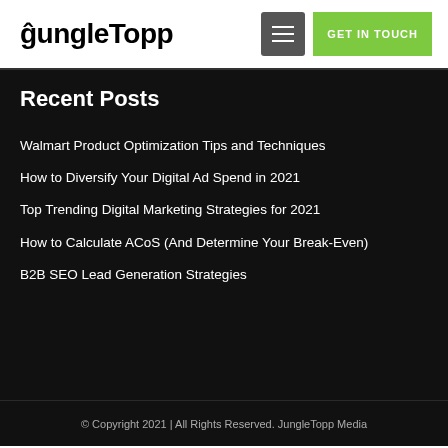JungleTopp | GET IN TOUCH
Recent Posts
Walmart Product Optimization Tips and Techniques
How to Diversify Your Digital Ad Spend in 2021
Top Trending Digital Marketing Strategies for 2021
How to Calculate ACoS (And Determine Your Break-Even)
B2B SEO Lead Generation Strategies
© Copyright 2021 | All Rights Reserved. JungleTopp Media